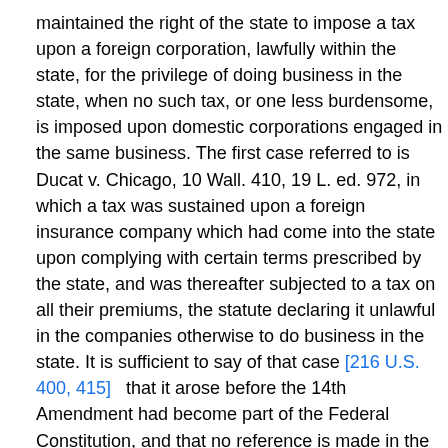maintained the right of the state to impose a tax upon a foreign corporation, lawfully within the state, for the privilege of doing business in the state, when no such tax, or one less burdensome, is imposed upon domestic corporations engaged in the same business. The first case referred to is Ducat v. Chicago, 10 Wall. 410, 19 L. ed. 972, in which a tax was sustained upon a foreign insurance company which had come into the state upon complying with certain terms prescribed by the state, and was thereafter subjected to a tax on all their premiums, the statute declaring it unlawful in the companies otherwise to do business in the state. It is sufficient to say of that case [216 U.S. 400, 415]   that it arose before the 14th Amendment had become part of the Federal Constitution, and that no reference is made in the opinion of the court to the 14th Amendment, although the case was decided after that Amendment went into effect.
In New York v. Roberts, 171 U.S. 662 , 43 L. ed. 323, 19 Sup.